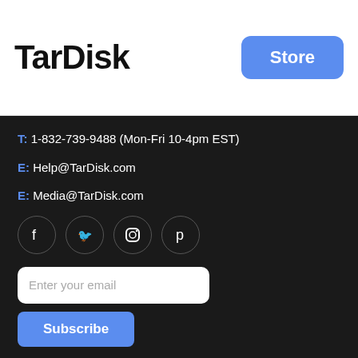TarDisk
Store
T: 1-832-739-9488 (Mon-Fri 10-4pm EST)
E: Help@TarDisk.com
E: Media@TarDisk.com
[Figure (illustration): Social media icons: Facebook, Twitter, Instagram, Pinterest in circular outlines]
Enter your email
Subscribe
Copyright © 2019 TarDisk.com | Ethereum LLC. Founded in 2018.